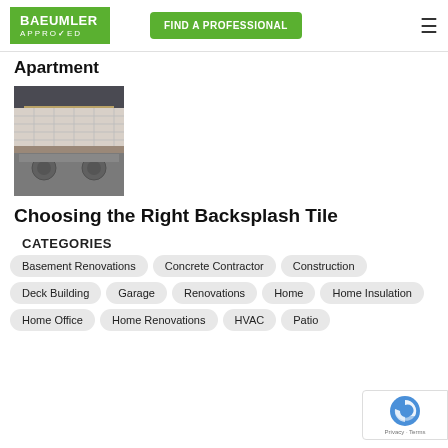BAEUMLER APPROVED | FIND A PROFESSIONAL
Apartment
[Figure (photo): Kitchen with dark cabinets, white backsplash tile, and stainless steel stove]
Choosing the Right Backsplash Tile
CATEGORIES
Basement Renovations
Concrete Contractor
Construction
Deck Building
Garage Renovations
Home
Home Insulation
Home Office
Home Renovations
HVAC
Patio